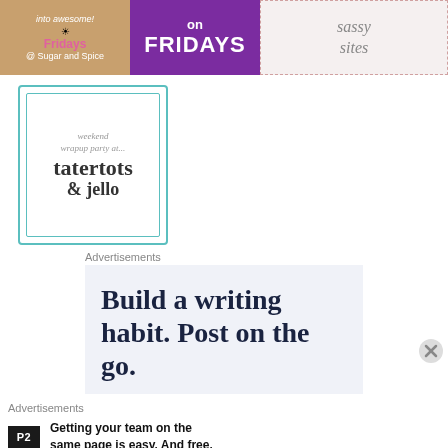[Figure (illustration): Top banner strip with three sections: left peach/brown section with 'into awesome! Fridays @ Sugar and Spice', middle purple section with 'on FRIDAYS' in bold white text, right section with 'sassy sites' in handwritten style]
[Figure (logo): Weekend wrapup party at... tatertots & jello badge/logo with teal double border on white background]
Advertisements
[Figure (screenshot): Advertisement block with light blue-grey background showing text 'Build a writing habit. Post on the go.' in dark serif font]
Advertisements
[Figure (infographic): P2 advertisement: black P2 logo box followed by bold text 'Getting your team on the same page is easy. And free.']